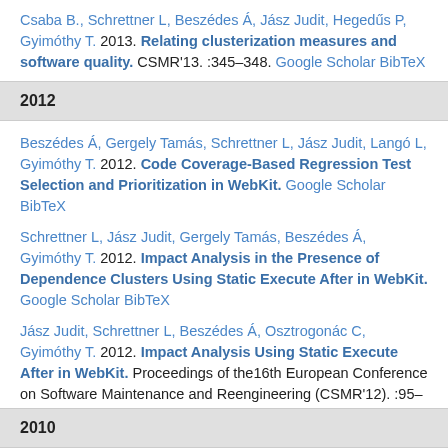Csaba B., Schrettner L, Beszédes Á, Jász Judit, Hegedűs P, Gyimóthy T.  2013.  Relating clusterization measures and software quality. CSMR'13. :345–348. Google Scholar BibTeX
2012
Beszédes Á, Gergely Tamás, Schrettner L, Jász Judit, Langó L, Gyimóthy T.  2012.  Code Coverage-Based Regression Test Selection and Prioritization in WebKit.  Google Scholar  BibTeX
Schrettner L, Jász Judit, Gergely Tamás, Beszédes Á, Gyimóthy T. 2012.  Impact Analysis in the Presence of Dependence Clusters Using Static Execute After in WebKit.  Google Scholar  BibTeX
Jász Judit, Schrettner L, Beszédes Á, Osztrogonác C, Gyimóthy T. 2012.  Impact Analysis Using Static Execute After in WebKit. Proceedings of the16th European Conference on Software Maintenance and Reengineering (CSMR'12). :95–104. Google Scholar BibTeX
2010